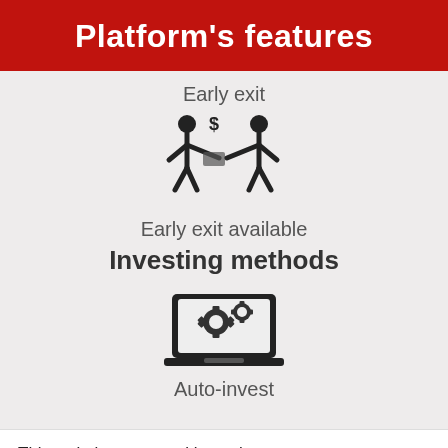Platform's features
Early exit
[Figure (illustration): Two stick figures exchanging money with a dollar sign above]
Early exit available
Investing methods
[Figure (illustration): Laptop with two gear/cog icons on screen]
Auto-invest
This website uses cookies to improve your experience. You may review our privacy policy if you wish.